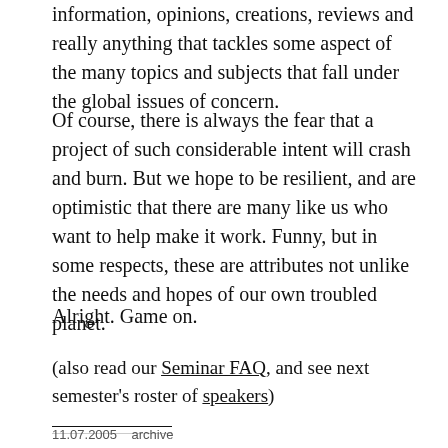information, opinions, creations, reviews and really anything that tackles some aspect of the many topics and subjects that fall under the global issues of concern.
Of course, there is always the fear that a project of such considerable intent will crash and burn. But we hope to be resilient, and are optimistic that there are many like us who want to help make it work. Funny, but in some respects, these are attributes not unlike the needs and hopes of our own troubled planet.
Alright. Game on.
(also read our Seminar FAQ, and see next semester’s roster of speakers)
Share this:
[Figure (infographic): Three social media share icons: Twitter (cyan circle), Facebook (blue circle), Reddit (light grey circle with alien logo)]
11.07.2005   archive